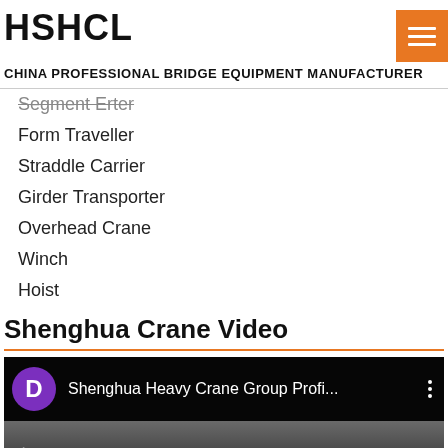HSHCL
CHINA PROFESSIONAL BRIDGE EQUIPMENT MANUFACTURER
Segment Erter
Form Traveller
Straddle Carrier
Girder Transporter
Overhead Crane
Winch
Hoist
Shenghua Crane Video
[Figure (screenshot): YouTube video thumbnail showing 'Shenghua Heavy Crane Group Profi...' with a purple D avatar icon and three-dot menu, with a blurred video preview below]